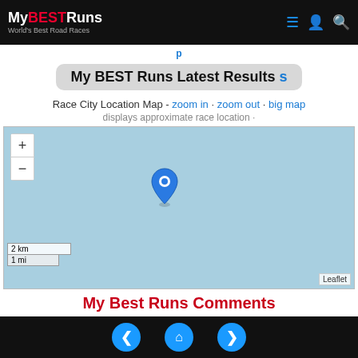My BEST Runs - World's Best Road Races
My BEST Runs Latest Results
Race City Location Map - zoom in · zoom out · big map
displays approximate race location ·
[Figure (map): Interactive Leaflet map with a blue location pin marker centered on a light blue map background, with zoom in/out controls, scale bars (2 km / 1 mi), and a Leaflet attribution.]
My Best Runs Comments
Make A Comment
Back | Home | Forward navigation